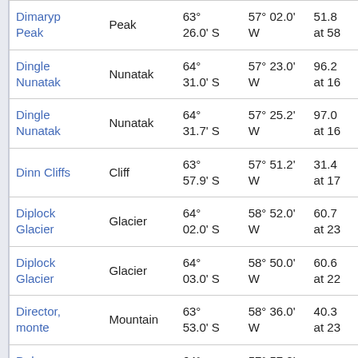| Name | Type | Latitude | Longitude | Elevation |
| --- | --- | --- | --- | --- |
| Dimaryp Peak | Peak | 63° 26.0' S | 57° 02.0' W | 51.8 at 58 |
| Dingle Nunatak | Nunatak | 64° 31.0' S | 57° 23.0' W | 96.2 at 16 |
| Dingle Nunatak | Nunatak | 64° 31.7' S | 57° 25.2' W | 97.0 at 16 |
| Dinn Cliffs | Cliff | 63° 57.9' S | 57° 51.2' W | 31.4 at 17 |
| Diplock Glacier | Glacier | 64° 02.0' S | 58° 52.0' W | 60.7 at 23 |
| Diplock Glacier | Glacier | 64° 03.0' S | 58° 50.0' W | 60.6 at 22 |
| Director, monte | Mountain | 63° 53.0' S | 58° 36.0' W | 40.3 at 23 |
| Dobson Dome | Dome | 64° 01.0' S | 57° 57.0' W | 38.8 |